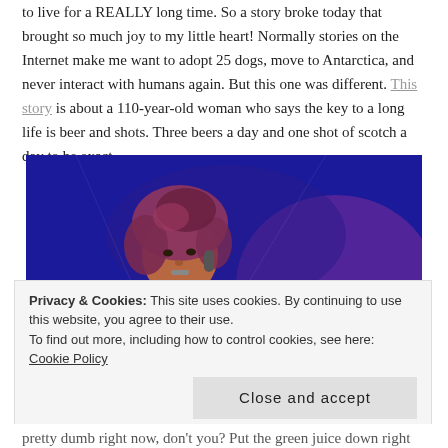to live for a REALLY long time. So a story broke today that brought so much joy to my little heart! Normally stories on the Internet make me want to adopt 25 dogs, move to Antarctica, and never interact with humans again. But this one was different. This story is about a 110-year-old woman who says the key to a long life is beer and shots. Three beers a day and one shot of scotch a day to be exact.
[Figure (photo): A woman with curly hair performing on stage under blue and purple stage lighting, holding a microphone.]
Privacy & Cookies: This site uses cookies. By continuing to use this website, you agree to their use. To find out more, including how to control cookies, see here: Cookie Policy
pretty dumb right now, don't you? Put the green juice down right now